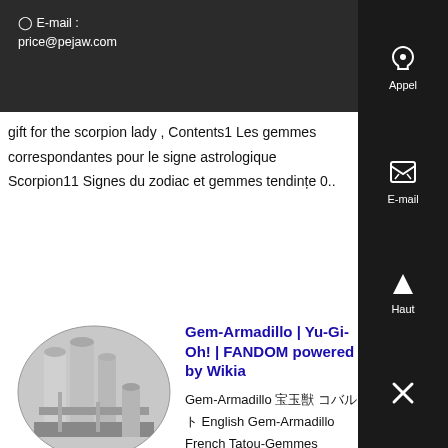⊙ E-mail : price@pejaw.com
gift for the scorpion lady , Contents1 Les gemmes correspondantes pour le signe astrologique Scorpion11 Signes du zodiac et gemmes tendințe 0..
[Figure (photo): Oval-shaped industrial photo showing large silos or tanks in a facility]
Gem-Armadillo | Yu-Gi-Oh! | FANDOM powered by Wikia
Gem-Armadillo 宝玉獣 コバルト・イーグル English Gem-Armadillo French Tatou-Gemmes Check translation German Edelstein-Gürteltier Check translation Italian Armadillo-Gemma Check translation Korean 보 옥수 Check translation Portuguese Gema-Tatu Check translation Spanish Gema-Armadillo Check translation